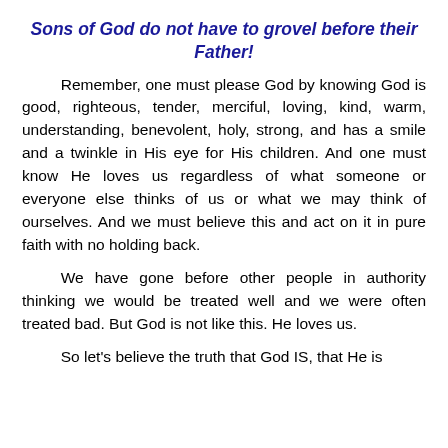Sons of God do not have to grovel before their Father!
Remember, one must please God by knowing God is good, righteous, tender, merciful, loving, kind, warm, understanding, benevolent, holy, strong, and has a smile and a twinkle in His eye for His children. And one must know He loves us regardless of what someone or everyone else thinks of us or what we may think of ourselves. And we must believe this and act on it in pure faith with no holding back.
We have gone before other people in authority thinking we would be treated well and we were often treated bad. But God is not like this. He loves us.
So let's believe the truth that God IS, that He is